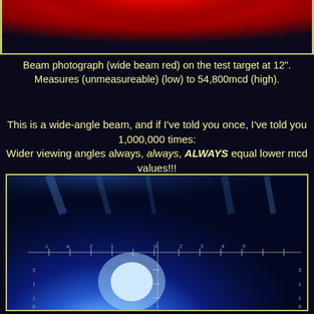[Figure (photo): Beam photograph showing wide beam red light on test target at 12 inches, bright red glow visible]
Beam photograph (wide beam red) on the test target at 12". Measures (unmeasureable) (low) to 54,800mcd (high).
This is a wide-angle beam, and if I've told you once, I've told you 1,000,000 times:
Wider viewing angles always, always, ALWAYS equal lower mcd values!!!
[Figure (photo): Beam photograph showing blue/white LED light beam on measurement grid target, bright white center with blue halo]